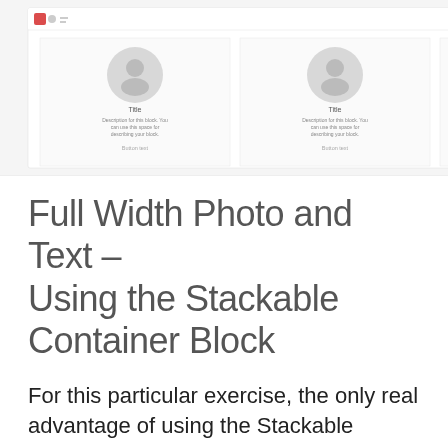[Figure (screenshot): Screenshot of a WordPress/Stackable block editor showing a three-column layout with image placeholders, Title, description text, and Button text in each column, plus a right-side settings panel with General Settings, Columns, Image Size, Button Settings, and Custom HTML options.]
Full Width Photo and Text – Using the Stackable Container Block
For this particular exercise, the only real advantage of using the Stackable Container block, rather than the standard Cover block, was that I was able to restrict the width of the text inside the container.